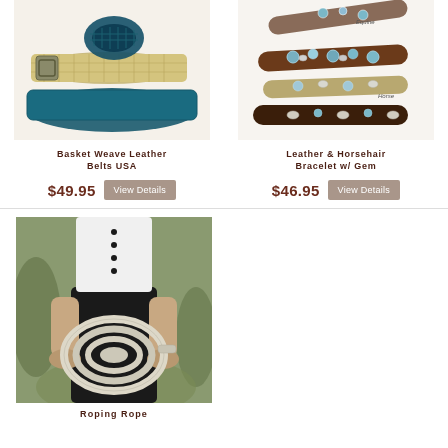[Figure (photo): Basket weave leather belts - stacked tan/beige woven belt and teal/dark basket weave belt]
Basket Weave Leather Belts USA
$49.95
[Figure (photo): Leather and horsehair bracelets with gem stones - multiple brown leather bracelets with turquoise and silver gems, labeled Equine and Horse]
Leather & Horsehair Bracelet w/ Gem
$46.95
[Figure (photo): Person holding a coiled white roping rope, wearing dark pants and white shirt with dark buttons]
Roping Rope